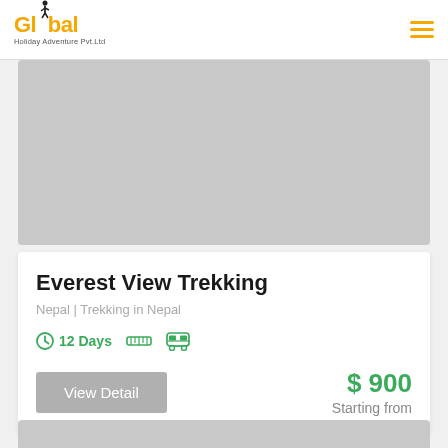Global Holiday Adventure Pvt.Ltd
[Figure (photo): Gray placeholder image for a trekking destination photo]
Everest View Trekking
Nepal | Trekking in Nepal
12 Days
View Detail  $ 900  Starting from
[Figure (photo): Gray placeholder image at the bottom of the page]